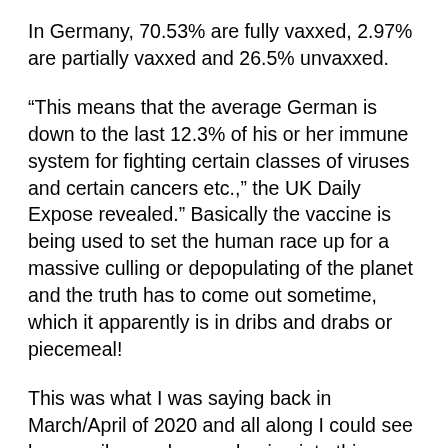In Germany, 70.53% are fully vaxxed, 2.97% are partially vaxxed and 26.5% unvaxxed.
“This means that the average German is down to the last 12.3% of his or her immune system for fighting certain classes of viruses and certain cancers etc.,” the UK Daily Expose revealed.” Basically the vaccine is being used to set the human race up for a massive culling or depopulating of the planet and the truth has to come out sometime, which it apparently is in dribs and drabs or piecemeal!
This was what I was saying back in March/April of 2020 and all along I could see how easily people were buying into this falsehood; so to me this is an evidence of our lack of faith in Jesus Christ...